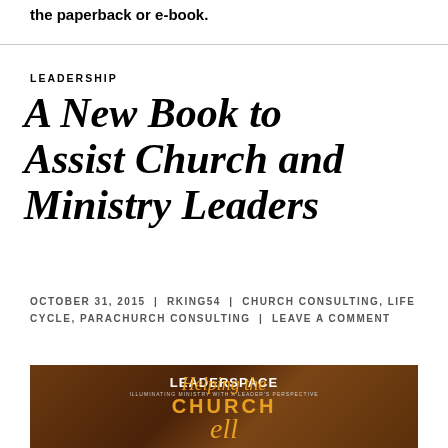the paperback or e-book.
LEADERSHIP
A New Book to Assist Church and Ministry Leaders
OCTOBER 31, 2015 | RKING54 | CHURCH CONSULTING, LIFE CYCLE, PARACHURCH CONSULTING | LEAVE A COMMENT
[Figure (photo): Book cover image with brick wall background, LEADERSPACE logo at top, text 'Helping the CHURCH' in orange/gold color]